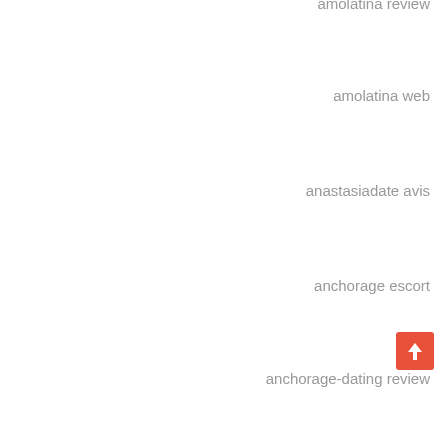amolatina review
amolatina web
anastasiadate avis
anchorage escort
anchorage-dating review
Android dating site free
Android username
angelreturn come funziona
angelreturn review
Angelreturn visitors
antichat it review
antioch escort service